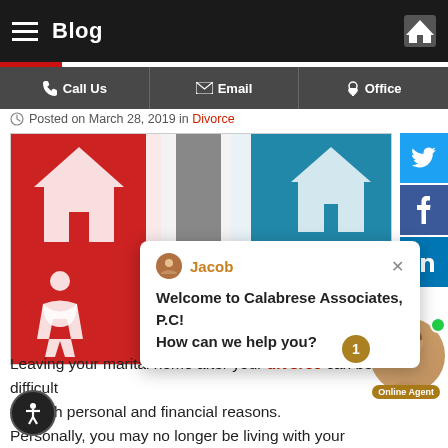Blog
Call Us  Email  Office
Posted on March 28, 2019 in Divorce
[Figure (screenshot): Blog post image showing a torn house illustration split between red and blue halves, representing divorce and property division. A chat popup from Jacob says 'Welcome to Calabrese Associates, P.C! How can we help you?'. Social media icons (Twitter, Facebook, LinkedIn) on right side. Online Agent avatar in bottom right.]
Leaving your marital home after your divorce can be difficult for both personal and financial reasons. Personally, you may no longer be living with your